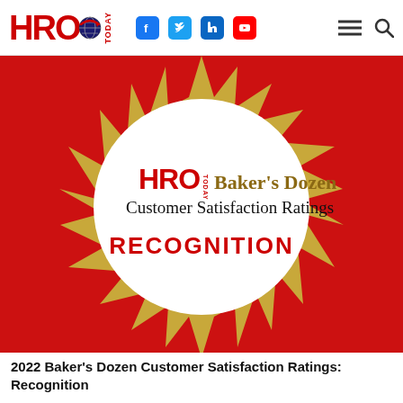HRO TODAY — social icons: Facebook, Twitter, LinkedIn, YouTube — hamburger menu, search
[Figure (logo): HRO Today Baker's Dozen Customer Satisfaction Ratings Recognition badge. Red background with golden sunburst rays around a white circle. Inside the circle: HRO Today logo text in red/gold, 'Baker's Dozen' in gold serif, 'Customer Satisfaction Ratings' in black, 'RECOGNITION' in bold red capital letters.]
2022 Baker's Dozen Customer Satisfaction Ratings: Recognition